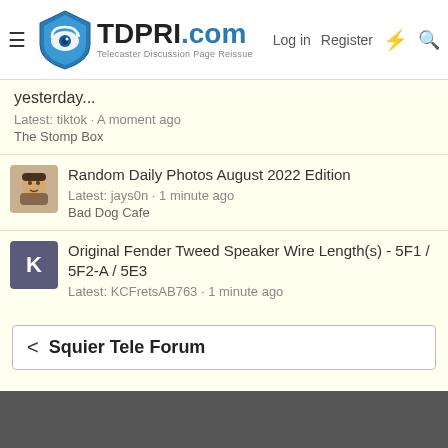[Figure (screenshot): TDPRI.com website header with logo, hamburger menu, Login, Register, lightning bolt and search icons]
yesterday...
Latest: tiktok · A moment ago
The Stomp Box
Random Daily Photos August 2022 Edition
Latest: jays0n · 1 minute ago
Bad Dog Cafe
Original Fender Tweed Speaker Wire Length(s) - 5F1 / 5F2-A / 5E3
Latest: KCFretsAB763 · 1 minute ago
Amp Central Station
What if size did not matter, which Fender amp would you use?
Latest: ChicknPickn · 2 minutes ago
Amp Central Station
< Squier Tele Forum